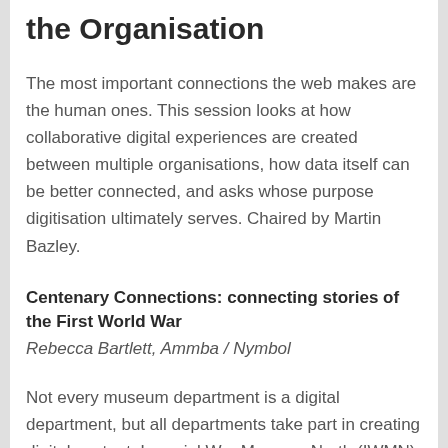the Organisation
The most important connections the web makes are the human ones. This session looks at how collaborative digital experiences are created between multiple organisations, how data itself can be better connected, and asks whose purpose digitisation ultimately serves. Chaired by Martin Bazley.
Centenary Connections: connecting stories of the First World War
Rebecca Bartlett, Ammba / Nymbol
Not every museum department is a digital department, but all departments take part in creating digital content. Imperial War Museum North (IWMN) and the Greater Manchester Centenary Partnership have delivered a